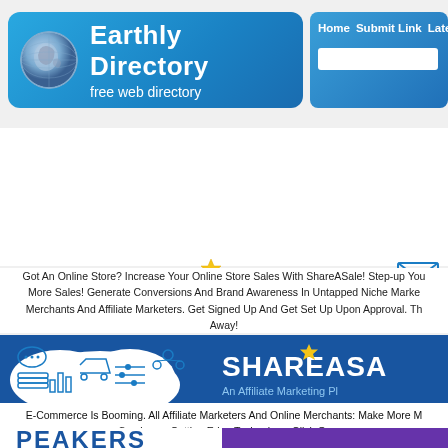[Figure (screenshot): Earthly Directory website header with globe logo, 'Earthly Directory / free web directory' text, and navigation bar with Home, Submit Link, Latest Link links and search box]
[Figure (logo): ShareASale logo with star above letter A, subtitle 'An Affiliate Marketing Platform', and decorative e-commerce icons on the right]
Got An Online Store? Increase Your Online Store Sales With ShareASale! Step-up Your More Sales! Generate Conversions And Brand Awareness In Untapped Niche Markets Merchants And Affiliate Marketers. Get Signed Up And Get Set Up Upon Approval. The Away!
[Figure (screenshot): ShareASale banner ad on dark blue background with e-commerce icons on left and ShareASale logo text on right]
E-Commerce Is Booming. All Affiliate Marketers And Online Merchants: Make More M Services – Cutting Edge Technology. Click Or
[Figure (logo): PEAKERS logo text in dark blue, partially visible, with purple block on the right]